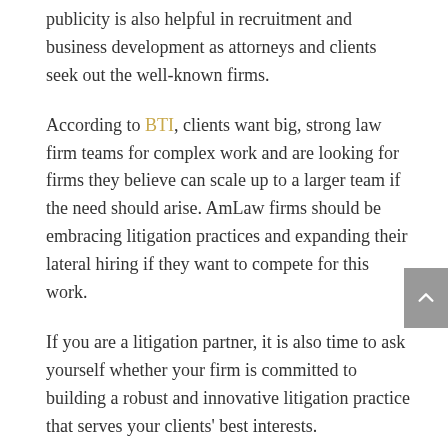publicity is also helpful in recruitment and business development as attorneys and clients seek out the well-known firms.
According to BTI, clients want big, strong law firm teams for complex work and are looking for firms they believe can scale up to a larger team if the need should arise. AmLaw firms should be embracing litigation practices and expanding their lateral hiring if they want to compete for this work.
If you are a litigation partner, it is also time to ask yourself whether your firm is committed to building a robust and innovative litigation practice that serves your clients' best interests.
Keith Fall and Ross Weil are partners with the New York-based legal recruiting firm, Walker Associates.
The original content of this article can be found here: